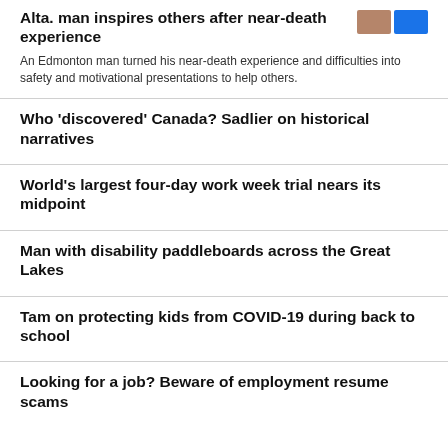Alta. man inspires others after near-death experience
An Edmonton man turned his near-death experience and difficulties into safety and motivational presentations to help others.
Who 'discovered' Canada? Sadlier on historical narratives
World's largest four-day work week trial nears its midpoint
Man with disability paddleboards across the Great Lakes
Tam on protecting kids from COVID-19 during back to school
Looking for a job? Beware of employment resume scams